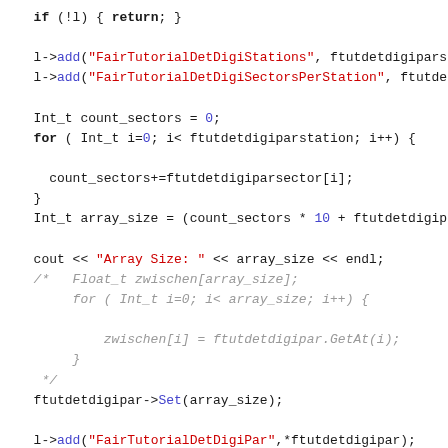Code snippet showing C++ implementation of FairTutorialDetDigiPar parameter handling, including add calls, loop over sectors, array size calculation, commented-out Float_t array, Set call, and getParams function signature.